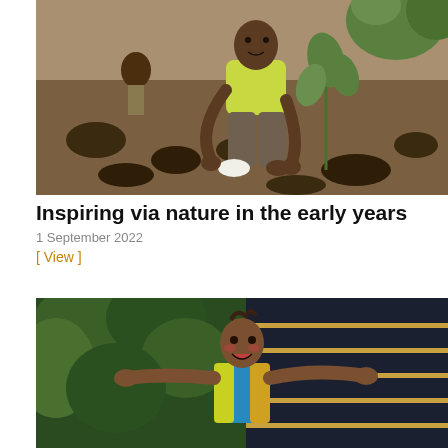[Figure (photo): A child in a yellow shirt crouching down planting a small tree seedling in dry, dark soil outdoors.]
Inspiring via nature in the early years
1 September 2022
[ View ]
[Figure (photo): A smiling child with outstretched arms wearing a colorful blue and yellow patterned top, standing in front of a large dark water tank with green foliage visible on the left.]